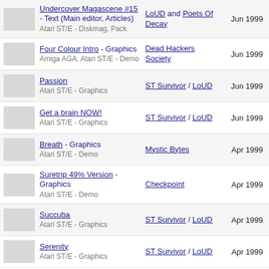Undercover Magascene #15 - Text (Main editor, Articles) | Atari ST/E - Diskmag, Pack | LoUD and Poets Of Decay | Jun 1999
Four Colour Intro - Graphics | Amiga AGA, Atari ST/E - Demo | Dead Hackers Society | Jun 1999
Passion | Atari ST/E - Graphics | ST Survivor / LoUD | Jun 1999
Get a brain NOW! | Atari ST/E - Graphics | ST Survivor / LoUD | Jun 1999
Breath - Graphics | Atari ST/E - Demo | Mystic Bytes | Apr 1999
Suretrip 49% Version - Graphics | Atari ST/E - Demo | Checkpoint | Apr 1999
Succuba | Atari ST/E - Graphics | ST Survivor / LoUD | Apr 1999
Serenity | Atari ST/E - Graphics | ST Survivor / LoUD | Apr 1999